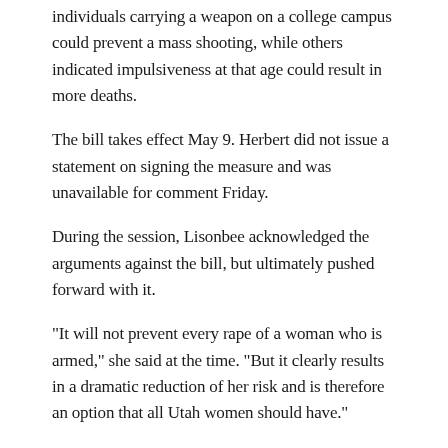individuals carrying a weapon on a college campus could prevent a mass shooting, while others indicated impulsiveness at that age could result in more deaths.
The bill takes effect May 9. Herbert did not issue a statement on signing the measure and was unavailable for comment Friday.
During the session, Lisonbee acknowledged the arguments against the bill, but ultimately pushed forward with it.
"It will not prevent every rape of a woman who is armed," she said at the time. "But it clearly results in a dramatic reduction of her risk and is therefore an option that all Utah women should have."
Reporter Alex Stuckey contributed to this report.